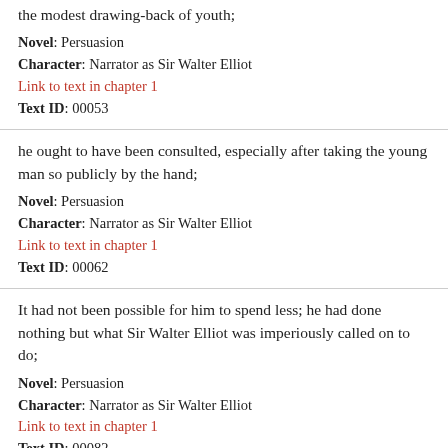the modest drawing-back of youth;
Novel: Persuasion
Character: Narrator as Sir Walter Elliot
Link to text in chapter 1
Text ID: 00053
he ought to have been consulted, especially after taking the young man so publicly by the hand;
Novel: Persuasion
Character: Narrator as Sir Walter Elliot
Link to text in chapter 1
Text ID: 00062
It had not been possible for him to spend less; he had done nothing but what Sir Walter Elliot was imperiously called on to do;
Novel: Persuasion
Character: Narrator as Sir Walter Elliot
Link to text in chapter 1
Text ID: 00082